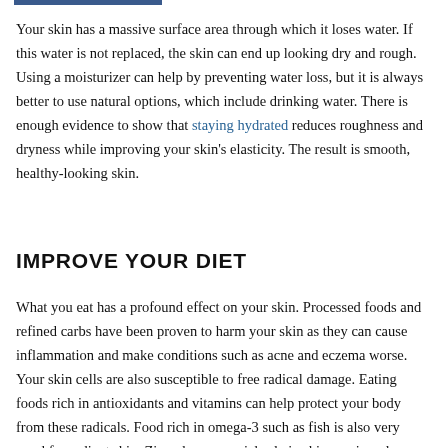Your skin has a massive surface area through which it loses water. If this water is not replaced, the skin can end up looking dry and rough. Using a moisturizer can help by preventing water loss, but it is always better to use natural options, which include drinking water. There is enough evidence to show that staying hydrated reduces roughness and dryness while improving your skin's elasticity. The result is smooth, healthy-looking skin.
IMPROVE YOUR DIET
What you eat has a profound effect on your skin. Processed foods and refined carbs have been proven to harm your skin as they can cause inflammation and make conditions such as acne and eczema worse. Your skin cells are also susceptible to free radical damage. Eating foods rich in antioxidants and vitamins can help protect your body from these radicals. Food rich in omega-3 such as fish is also very good for radiant skin. Zinc plays a crucial role in skin repair and adding it to your diet will be